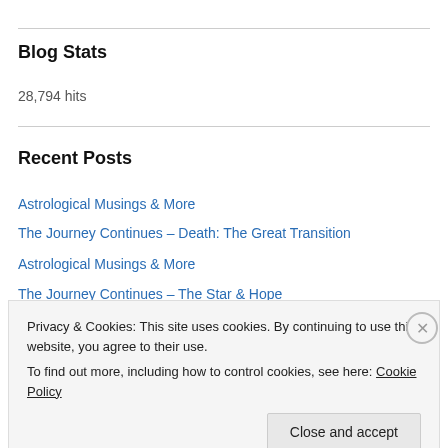Blog Stats
28,794 hits
Recent Posts
Astrological Musings & More
The Journey Continues – Death: The Great Transition
Astrological Musings & More
The Journey Continues – The Star & Hope
Privacy & Cookies: This site uses cookies. By continuing to use this website, you agree to their use.
To find out more, including how to control cookies, see here: Cookie Policy